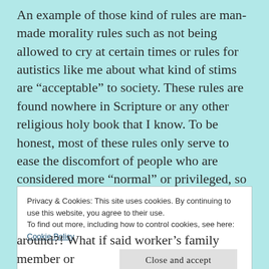An example of those kind of rules are man-made morality rules such as not being allowed to cry at certain times or rules for autistics like me about what kind of stims are “acceptable” to society. These rules are found nowhere in Scripture or any other religious holy book that I know. To be honest, most of these rules only serve to ease the discomfort of people who are considered more “normal” or privileged, so they don’t have to confront or serve those who have some kind of marginalized identity. For instance, there is this
Privacy & Cookies: This site uses cookies. By continuing to use this website, you agree to their use.
To find out more, including how to control cookies, see here: Cookie Policy
Close and accept
around?! What if said worker’s family member or